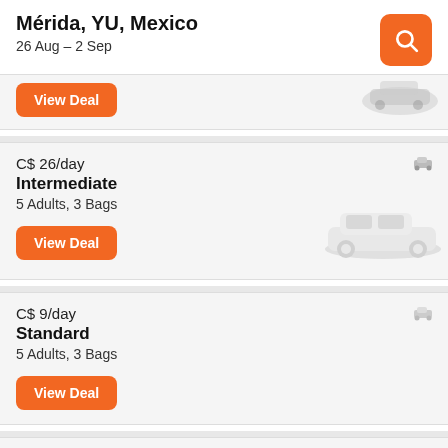Mérida, YU, Mexico
26 Aug – 2 Sep
C$ 26/day
Intermediate
5 Adults, 3 Bags
View Deal
C$ 9/day
Standard
5 Adults, 3 Bags
View Deal
C$ 71/day
Full-size
5 Adults, 2 Bags